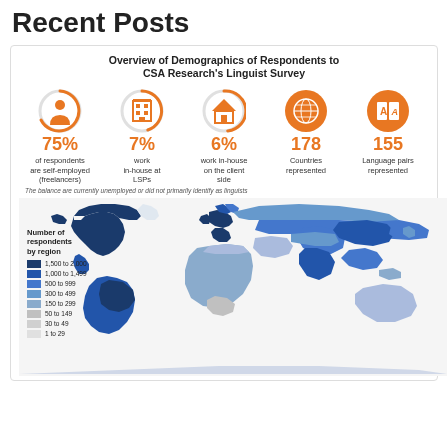Recent Posts
[Figure (infographic): Overview of Demographics of Respondents to CSA Research's Linguist Survey. Icons showing: 75% of respondents are self-employed (freelancers); 7% work in-house at LSPs; 6% work in-house on the client side; 178 Countries represented; 155 Language pairs represented. Note: The balance are currently unemployed or did not primarily identify as linguists. World map showing number of respondents by region with color-coded legend from 1,500 to 2,000 down to 1 to 29.]
Number of respondents by region: 1,500 to 2,000; 1,000 to 1,499; 500 to 999; 300 to 499; 150 to 299; 50 to 149; 30 to 49; 1 to 29